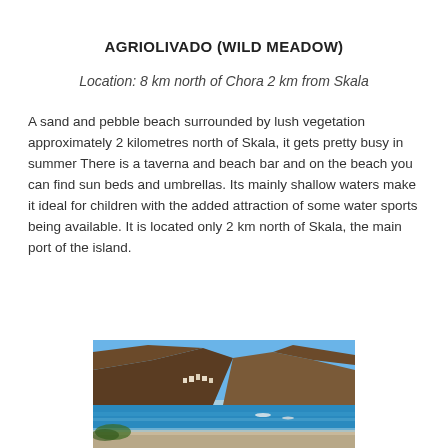AGRIOLIVADO (WILD MEADOW)
Location: 8 km north of Chora 2 km from Skala
A sand and pebble beach surrounded by lush vegetation approximately 2 kilometres north of Skala, it gets pretty busy in summer There is a taverna and beach bar and on the beach you can find sun beds and umbrellas. Its mainly shallow waters make it ideal for children with the added attraction of some water sports being available. It is located only 2 km north of Skala, the main port of the island.
[Figure (photo): Coastal beach scene with hillside village, clear blue sky and turquoise sea, showing a sandy beach with mountains in the background at Agriolivado.]